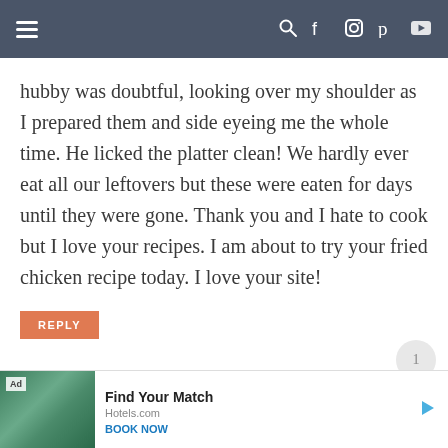Navigation bar with hamburger menu and social/search icons
hubby was doubtful, looking over my shoulder as I prepared them and side eyeing me the whole time. He licked the platter clean! We hardly ever eat all our leftovers but these were eaten for days until they were gone. Thank you and I hate to cook but I love your recipes. I am about to try your fried chicken recipe today. I love your site!
REPLY
[Figure (other): Ad banner: Hotels.com advertisement with tropical hotel image, 'Find Your Match' headline and 'BOOK NOW' call to action]